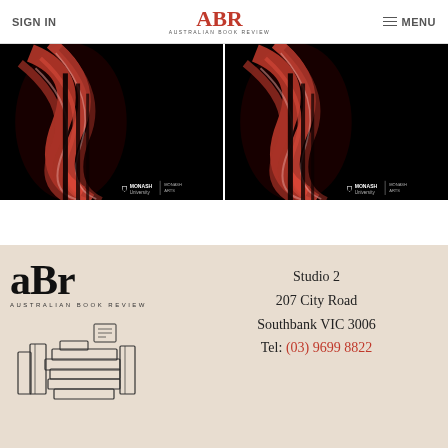SIGN IN | ABR AUSTRALIAN BOOK REVIEW | MENU
[Figure (photo): Two identical black-background promotional images side by side showing red abstract swirling artwork with Monash University and Monash Arts logos at bottom right]
[Figure (logo): ABR Australian Book Review large serif logo with stacked books illustration below, on beige/tan background]
Studio 2
207 City Road
Southbank VIC 3006
Tel: (03) 9699 8822